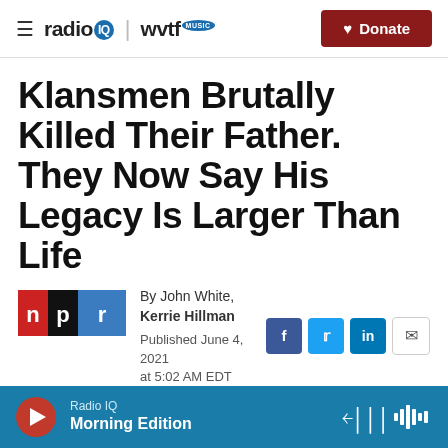radio IQ | wvtf MUSIC — Donate
Klansmen Brutally Killed Their Father. They Now Say His Legacy Is Larger Than Life
By John White, Kerrie Hillman
Published June 4, 2021 at 5:02 AM EDT
Radio IQ Morning Edition